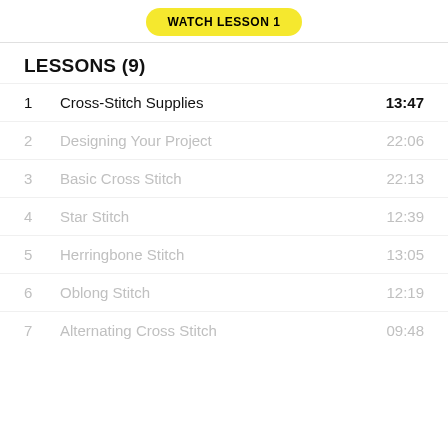[Figure (other): Yellow 'WATCH LESSON 1' button/badge centered at top]
LESSONS (9)
1  Cross-Stitch Supplies  13:47
2  Designing Your Project  22:06
3  Basic Cross Stitch  22:13
4  Star Stitch  12:39
5  Herringbone Stitch  13:05
6  Oblong Stitch  12:19
7  Alternating Cross Stitch  09:48